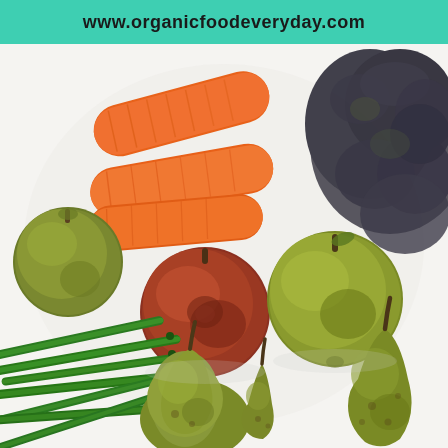www.organicfoodeveryday.com
[Figure (photo): Overhead flat lay photo of organic fruits and vegetables on a white surface, including carrots, kale, green beans, apples, and pears]